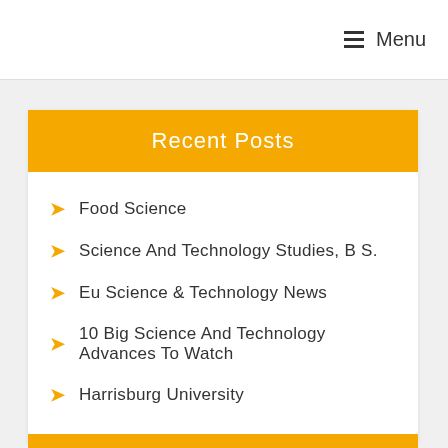≡ Menu
Recent Posts
Food Science
Science And Technology Studies, B S.
Eu Science & Technology News
10 Big Science And Technology Advances To Watch
Harrisburg University